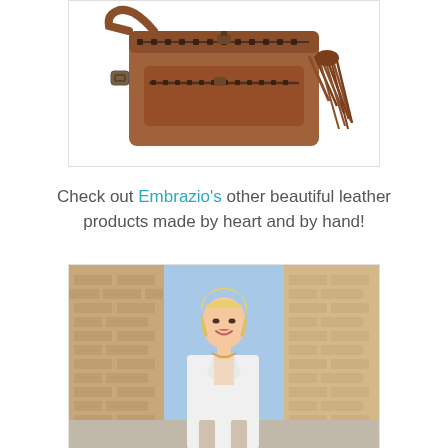[Figure (photo): Brown leather crossbody bag with fringe tassel and zipper details on white background]
Check out Embrazio's other beautiful leather products made by heart and by hand!
[Figure (photo): Blonde woman in white blazer standing in an alley between brick buildings, smiling]